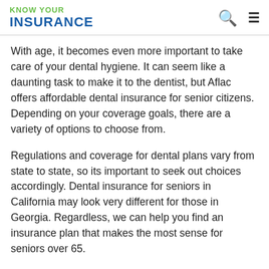KNOW YOUR INSURANCE
With age, it becomes even more important to take care of your dental hygiene. It can seem like a daunting task to make it to the dentist, but Aflac offers affordable dental insurance for senior citizens. Depending on your coverage goals, there are a variety of options to choose from.
Regulations and coverage for dental plans vary from state to state, so its important to seek out choices accordingly. Dental insurance for seniors in California may look very different for those in Georgia. Regardless, we can help you find an insurance plan that makes the most sense for seniors over 65.
Also Check:
Does Travel Insurance Cover If Company Goes Bust